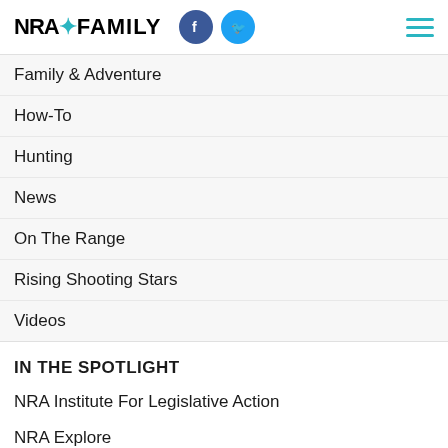NRA FAMILY
Family & Adventure
How-To
Hunting
News
On The Range
Rising Shooting Stars
Videos
IN THE SPOTLIGHT
NRA Institute For Legislative Action
NRA Explore
NRA MEMBERSHIP
NRA Membership
Exclusive Member Benefits